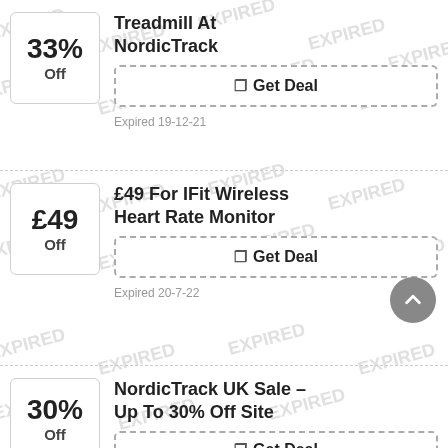33% Off - Treadmill At NordicTrack
Get Deal
Expired 19-12-21
£49 For IFit Wireless Heart Rate Monitor
Get Deal
Expired 20-7-22
NordicTrack UK Sale - Up To 30% Off Site
Get Deal